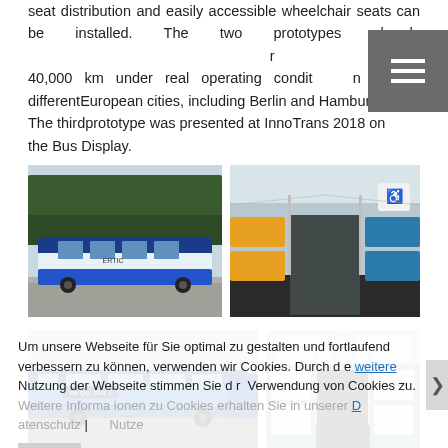seat distribution and easily accessible wheelchair seats can be installed. The two prototypes already 40,000 km under real operating conditions in different European cities, including Berlin and Hamburg. The third prototype was presented at InnoTrans 2018 on the Bus Display.
[Figure (photo): Exterior side view of a modern electric/autonomous bus (ERTIC branding) in blue and white, parked on a road with trees in background]
[Figure (photo): Interior of the bus showing blue and orange seating, wheelchair accessibility area, and aisle looking toward front]
Um unsere Webseite für Sie optimal zu gestalten und fortlaufend verbessern zu können, verwenden wir Cookies. Durch die weitere Nutzung der Webseite stimmen Sie der Verwendung von Cookies zu. Weitere Informationen zu Cookies erhalten Sie in unserer Datenschutzerklärung
[Figure (photo): Exterior front-side view of a blue city bus (EMT branding) at a bus stop or depot]
[Figure (photo): Interior of a bus showing white and blue seats, handrails, and bright windows]